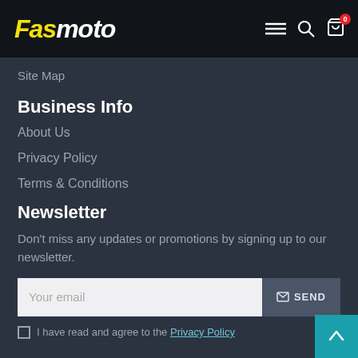Fasmoto
Site Map
Business Info
About Us
Privacy Policy
Terms & Conditions
Newsletter
Don't miss any updates or promotions by signing up to our newsletter.
Your email | SEND
I have read and agree to the Privacy Policy